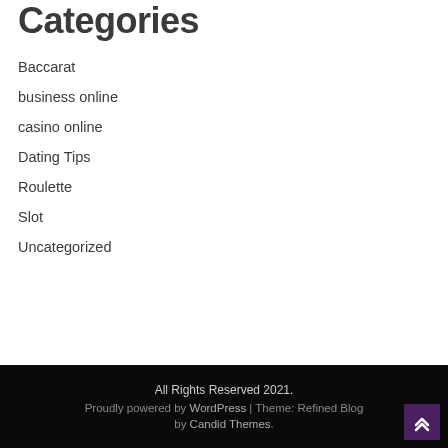Categories
Baccarat
business online
casino online
Dating Tips
Roulette
Slot
Uncategorized
All Rights Reserved 2021. Proudly powered by WordPress | Theme: Refined Blog by Candid Themes.